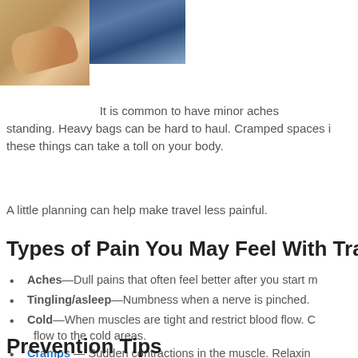[Figure (photo): Two overlapping photos: one showing hands (skin tone, close-up), another showing a blue/sky background scene]
It is common to have minor aches standing. Heavy bags can be hard to haul. Cramped spaces these things can take a toll on your body.
A little planning can help make travel less painful.
Types of Pain You May Feel With Travel
Aches—Dull pains that often feel better after you start m
Tingling/asleep—Numbness when a nerve is pinched.
Cold—When muscles are tight and restrict blood flow. flow to the cold areas.
Cramps — Sudden contractions in the muscle. Relaxin
Knots—Happen when muscle fibers do not relax. Mass
Spasms— Severe cramps that come and go. Stretching
Prevention Tips